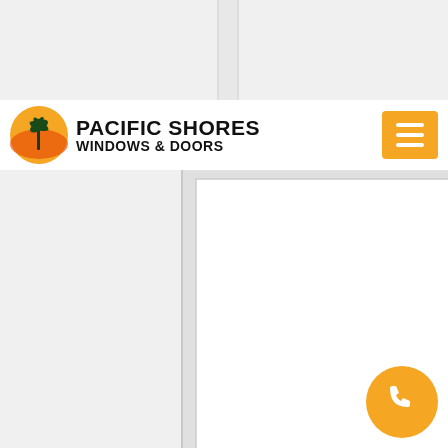[Figure (photo): White vinyl sliding window product photo shown against a light background, with white frame sections visible at top and a larger window unit below — as seen on Pacific Shores Windows & Doors website.]
Pacific Shores Windows & Doors — navigation bar with logo and hamburger menu
MONTECITO SERIES VINYL WINDOWS
Building a new home or addition? Create your dream home with Montecito Series® vinyl windows that stand up to corrosion...